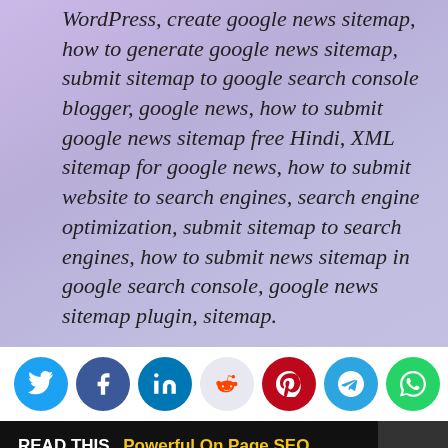WordPress, create google news sitemap, how to generate google news sitemap, submit sitemap to google search console blogger, google news, how to submit google news sitemap free Hindi, XML sitemap for google news, how to submit website to search engines, search engine optimization, submit sitemap to search engines, how to submit news sitemap in google search console, google news sitemap plugin, sitemap.
[Figure (other): Social share buttons: Twitter, Facebook, LinkedIn, Reddit, Pinterest, Telegram, WhatsApp, Email]
READ THIS  Powerful On Page SEO Techniques and Keyword Placement in Article
[Figure (other): Yellow advertisement banner at bottom of page. Gray TOP button with upward arrow in bottom right corner.]